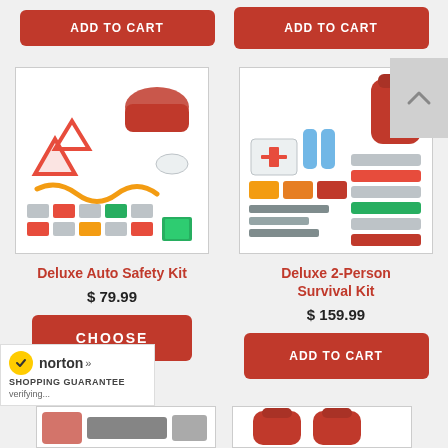[Figure (other): Partial ADD TO CART buttons from row above, cut off at top of page]
[Figure (photo): Deluxe Auto Safety Kit product image showing road safety triangles, jumper cables, gloves, and various auto emergency items in a red bag]
Deluxe Auto Safety Kit
$ 79.99
CHOOSE
[Figure (photo): Deluxe 2-Person Survival Kit product image showing a red backpack and various survival items including first aid, food, tools]
Deluxe 2-Person Survival Kit
$ 159.99
ADD TO CART
[Figure (logo): Norton Shopping Guarantee badge with yellow checkmark, norton logo and verifying text]
[Figure (photo): Partial product image at bottom left, partially visible]
[Figure (photo): Partial product image at bottom right showing red backpacks, partially visible]